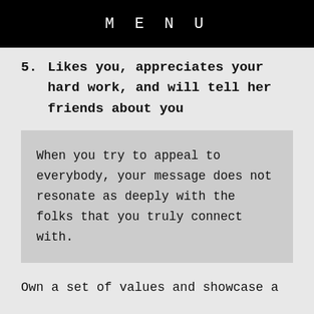MENU
5. Likes you, appreciates your hard work, and will tell her friends about you
When you try to appeal to everybody, your message does not resonate as deeply with the folks that you truly connect with.
Own a set of values and showcase a